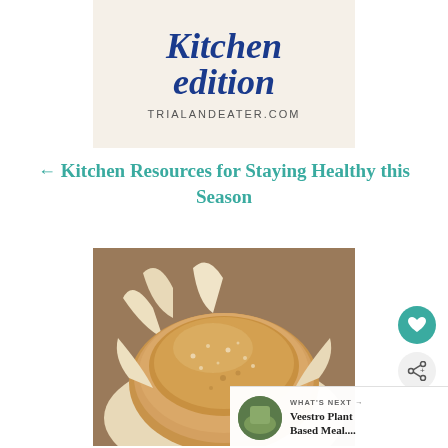[Figure (illustration): Decorative image with cursive script text reading 'Kitchen edition' in dark blue on a light beige background with the URL trialandeater.com below]
← Kitchen Resources for Staying Healthy this Season
[Figure (photo): Close-up photo of a round sourdough or artisan bread loaf in a proofing basket lined with parchment paper, top view showing golden-brown crust with flour dusting]
WHAT'S NEXT → Veestro Plant Based Meal....